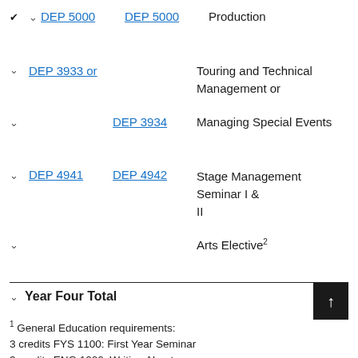DEP 5000 DEP 5000 Production
DEP 3933 or Touring and Technical Management or
DEP 3934 Managing Special Events
DEP 4941 DEP 4942 Stage Management Seminar I & II
Arts Elective²
Year Four Total
¹ General Education requirements:
3 credits FYS 1100: First Year Seminar
3 credits ENG 1200: Writing About